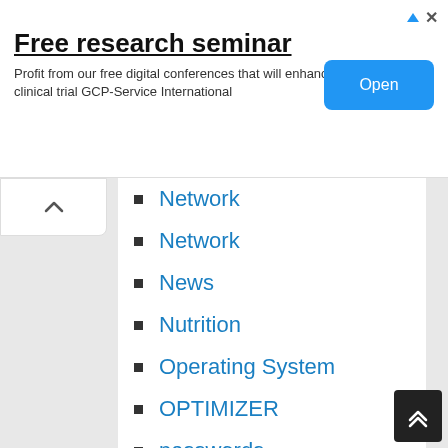[Figure (infographic): Advertisement banner: 'Free research seminar' with subtitle 'Profit from our free digital conferences that will enhance every clinical trial GCP-Service International' and a blue 'Open' button. Has ad icons (triangle logo and close X) in top right.]
Network
Network
News
Nutrition
Operating System
OPTIMIZER
passwords
phone apps
phone software
professional
Programing
programing tools